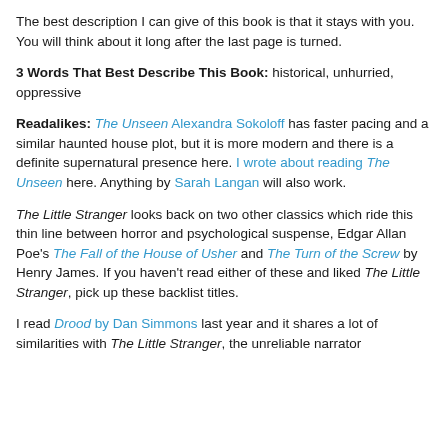The best description I can give of this book is that it stays with you. You will think about it long after the last page is turned.
3 Words That Best Describe This Book: historical, unhurried, oppressive
Readalikes: The Unseen Alexandra Sokoloff has faster pacing and a similar haunted house plot, but it is more modern and there is a definite supernatural presence here. I wrote about reading The Unseen here. Anything by Sarah Langan will also work.
The Little Stranger looks back on two other classics which ride this thin line between horror and psychological suspense, Edgar Allan Poe's The Fall of the House of Usher and The Turn of the Screw by Henry James. If you haven't read either of these and liked The Little Stranger, pick up these backlist titles.
I read Drood by Dan Simmons last year and it shares a lot of similarities with The Little Stranger, the unreliable narrator...